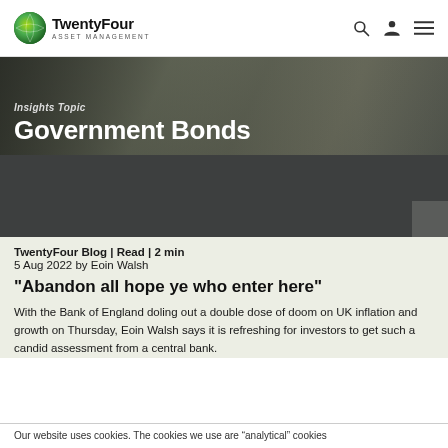TwentyFour Asset Management
Insights Topic
Government Bonds
[Figure (other): Dark grey article thumbnail image placeholder]
TwentyFour Blog | Read | 2 min
5 Aug 2022 by Eoin Walsh
"Abandon all hope ye who enter here"
With the Bank of England doling out a double dose of doom on UK inflation and growth on Thursday, Eoin Walsh says it is refreshing for investors to get such a candid assessment from a central bank.
Our website uses cookies. The cookies we use are "analytical" cookies